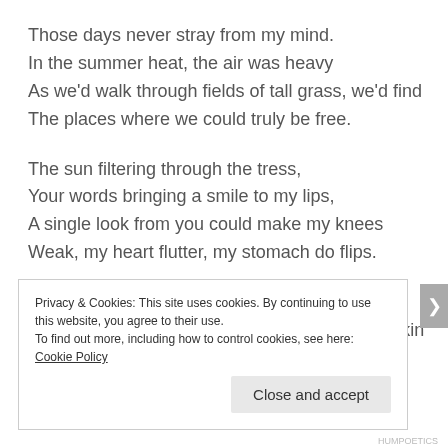Those days never stray from my mind.
In the summer heat, the air was heavy
As we'd walk through fields of tall grass, we'd find
The places where we could truly be free.

The sun filtering through the tress,
Your words bringing a smile to my lips,
A single look from you could make my knees
Weak, my heart flutter, my stomach do flips.

When I close my eyes, I can still see
The light that streamed from yours. Feel your skin
Privacy & Cookies: This site uses cookies. By continuing to use this website, you agree to their use.
To find out more, including how to control cookies, see here: Cookie Policy